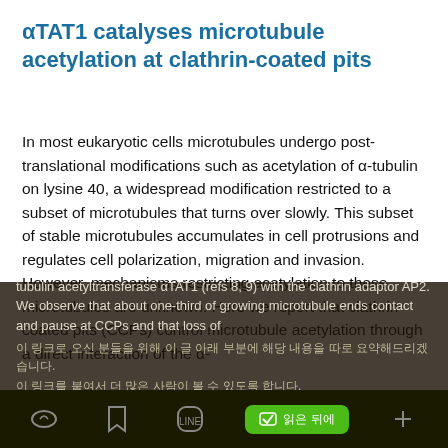αTAT1 catalyses microtubule acetylation at clathrin-coated pits
In most eukaryotic cells microtubules undergo post-translational modifications such as acetylation of α-tubulin on lysine 40, a widespread modification restricted to a subset of microtubules that turns over slowly. This subset of stable microtubules accumulates in cell protrusions and regulates cell polarization, migration and invasion. However, mechanisms restricting acetylation to these microtubules are unknown. Here we report that clathrin-coated pits (CCPs) control microtubule acetylation through a direct interaction of the α-tubulin acetyltransferase αTAT1 (refs 8, 9) with the clathrin adaptor AP2. We observe that about one-third of growing microtubule ends contact and pause at CCPs and that loss of